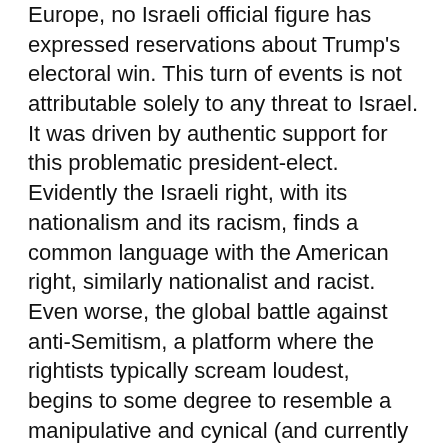Europe, no Israeli official figure has expressed reservations about Trump's electoral win. This turn of events is not attributable solely to any threat to Israel. It was driven by authentic support for this problematic president-elect. Evidently the Israeli right, with its nationalism and its racism, finds a common language with the American right, similarly nationalist and racist. Even worse, the global battle against anti-Semitism, a platform where the rightists typically scream loudest, begins to some degree to resemble a manipulative and cynical (and currently less useful) ploy. Suddenly, being anti-Semitic is no longer so terrible now. Suddenly it's forgivable, especially if you hate Muslims and Arabs. So long as you are “pro-Israel”. The Jewish and Israel right has issued a blanket pardon to pro-Israel anti-Semites, who will run the next US government. Like pornography, anti-Semitism now becomes a matter of geography, self-interest and cost-effectiveness. Right-wing American anti-Semites are no longer seen as anti-Semites as long as they support the conservative, well, right-wing, find anti-Semites and...